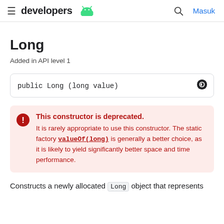developers [android logo] | [search icon] Masuk
Long
Added in API level 1
public Long (long value)
This constructor is deprecated. It is rarely appropriate to use this constructor. The static factory valueOf(long) is generally a better choice, as it is likely to yield significantly better space and time performance.
Constructs a newly allocated Long object that represents